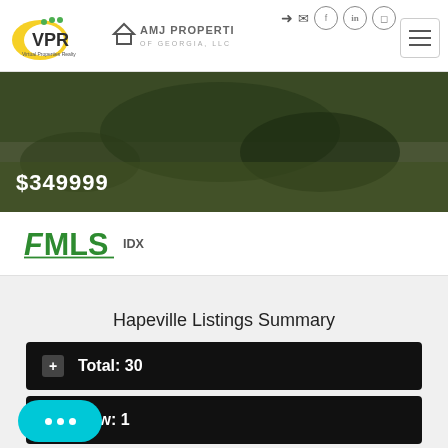VPR / AMJ Properties of Georgia LLC header with navigation icons
[Figure (photo): Outdoor landscape property photo with dark greenery and terrain, price $349999 overlaid]
[Figure (logo): FMLS IDX logo in green]
Hapeville Listings Summary
Total: 30
New: 1